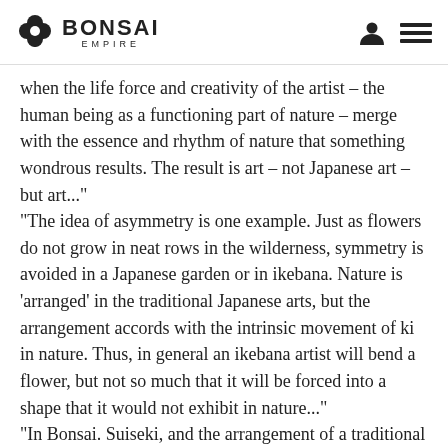BONSAI EMPIRE
when the life force and creativity of the artist – the human being as a functioning part of nature – merge with the essence and rhythm of nature that something wondrous results. The result is art – not Japanese art – but art..."
"The idea of asymmetry is one example. Just as flowers do not grow in neat rows in the wilderness, symmetry is avoided in a Japanese garden or in ikebana. Nature is 'arranged' in the traditional Japanese arts, but the arrangement accords with the intrinsic movement of ki in nature. Thus, in general an ikebana artist will bend a flower, but not so much that it will be forced into a shape that it would not exhibit in nature..."
"In Bonsai. Suiseki, and the arrangement of a traditional garden, Japanese art aims to capture the